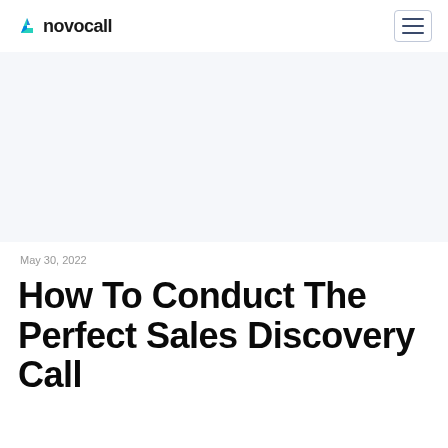novocall
May 30, 2022
How To Conduct The Perfect Sales Discovery Call